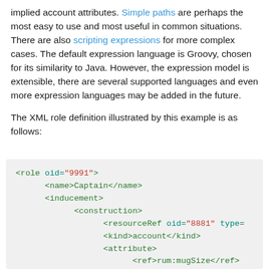implied account attributes. Simple paths are perhaps the most easy to use and most useful in common situations. There are also scripting expressions for more complex cases. The default expression language is Groovy, chosen for its similarity to Java. However, the expression model is extensible, there are several supported languages and even more expression languages may be added in the future.

The XML role definition illustrated by this example is as follows:
<role oid="9991">
    <name>Captain</name>
    <inducement>
        <construction>
            <resourceRef oid="8881" type=
            <kind>account</kind>
            <attribute>
                <ref>rum:mugSize</ref>